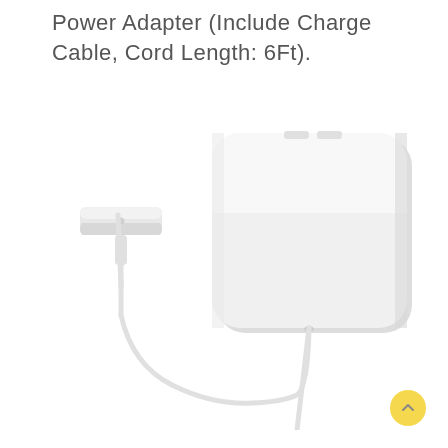Power Adapter (Include Charge Cable, Cord Length: 6Ft).
[Figure (photo): White laptop power adapter/charger with MagSafe 2 T-shaped connector and cable, shown alongside the square white power brick. The cable extends from the T-shaped magnetic connector to the power brick. Background is white.]